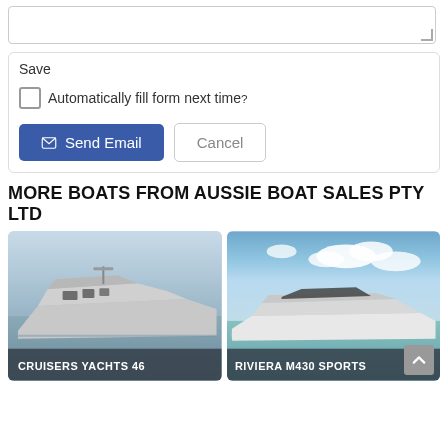[Figure (screenshot): Textarea input field with resize handle]
Save
Automatically fill form next time?
[Figure (screenshot): Send Email button (blue) and Cancel button (white/grey)]
MORE BOATS FROM AUSSIE BOAT SALES PTY LTD
[Figure (photo): Cruisers Yachts 46 motor yacht on water, grey hull, modern design]
[Figure (photo): Riviera M430 Sports motor yacht on turquoise water, white hull, blue sky with clouds]